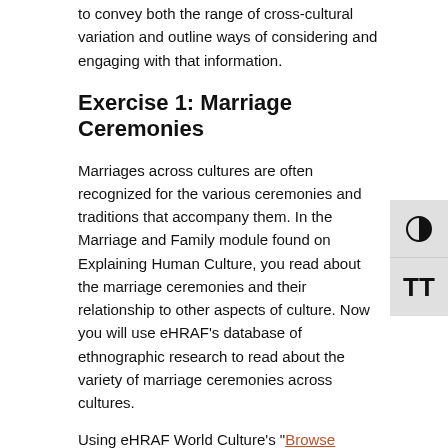to convey both the range of cross-cultural variation and outline ways of considering and engaging with that information.
Exercise 1: Marriage Ceremonies
Marriages across cultures are often recognized for the various ceremonies and traditions that accompany them. In the Marriage and Family module found on Explaining Human Culture, you read about the marriage ceremonies and their relationship to other aspects of culture. Now you will use eHRAF’s database of ethnographic research to read about the variety of marriage ceremonies across cultures.
Using eHRAF World Culture’s “Browse DOCUMENTS” function, search for the following excerpts about marriage ceremonies in selected non-industrial societies. You may also click on the permalinks for each document below and use the drop down menu in the top right corner to